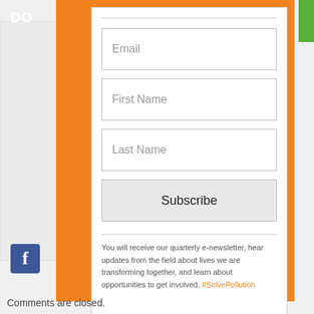DO
Email
First Name
Last Name
Subscribe
You will receive our quarterly e-newsletter, hear updates from the field about lives we are transforming together, and learn about opportunities to get involved. #SolvePollution
Comments are closed.